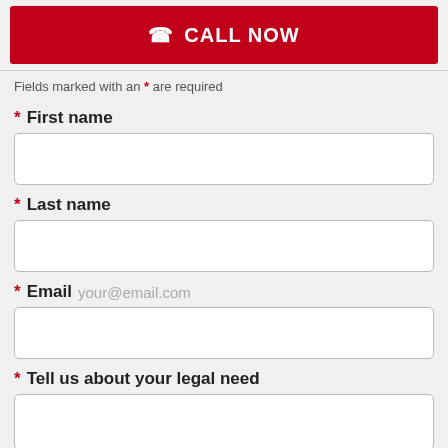[Figure (other): Red CALL NOW button with phone icon]
Fields marked with an * are required
* First name
* Last name
* Email your@email.com
* Tell us about your legal need